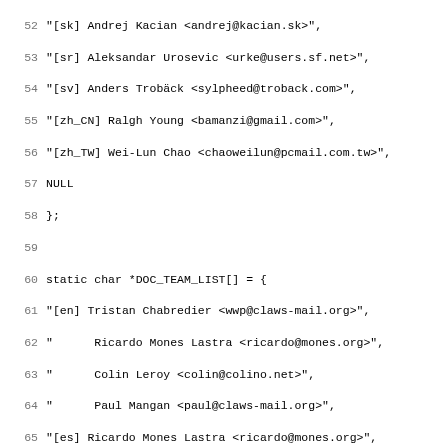Source code listing showing C static char arrays: DOC_TEAM_LIST, LOGO_LIST, ICONS_LIST, CONTRIBS_LIST with contributor names and email addresses. Lines 52-83.